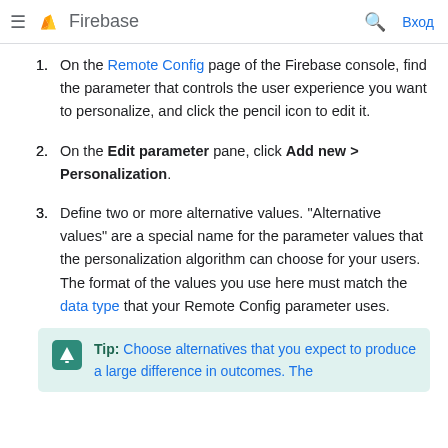Firebase
On the Remote Config page of the Firebase console, find the parameter that controls the user experience you want to personalize, and click the pencil icon to edit it.
On the Edit parameter pane, click Add new > Personalization.
Define two or more alternative values. "Alternative values" are a special name for the parameter values that the personalization algorithm can choose for your users. The format of the values you use here must match the data type that your Remote Config parameter uses.
Tip: Choose alternatives that you expect to produce a large difference in outcomes. The